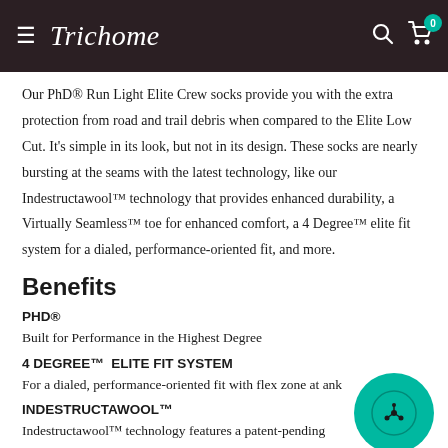Trichome — navigation header with search and cart (0 items)
Our PhD® Run Light Elite Crew socks provide you with the extra protection from road and trail debris when compared to the Elite Low Cut. It's simple in its look, but not in its design. These socks are nearly bursting at the seams with the latest technology, like our Indestructawool™ technology that provides enhanced durability, a Virtually Seamless™ toe for enhanced comfort, a 4 Degree™ elite fit system for a dialed, performance-oriented fit, and more.
Benefits
PHD®
Built for Performance in the Highest Degree
4 DEGREE™ ELITE FIT SYSTEM
For a dialed, performance-oriented fit with flex zone at ankle
INDESTRUCTAWOOL™
Indestructawool™ technology features a patent-pending